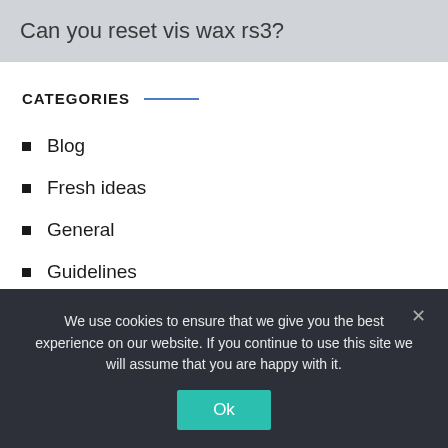Can you reset vis wax rs3?
CATEGORIES
Blog
Fresh ideas
General
Guidelines
We use cookies to ensure that we give you the best experience on our website. If you continue to use this site we will assume that you are happy with it.
Ok